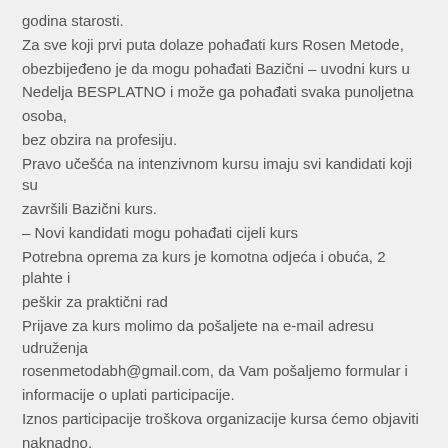godina starosti.
Za sve koji prvi puta dolaze pohađati kurs Rosen Metode, obezbijeđeno je da mogu pohađati Bazični – uvodni kurs u Nedelja BESPLATNO i može ga pohađati svaka punoljetna osoba,
bez obzira na profesiju.
Pravo učešća na intenzivnom kursu imaju svi kandidati koji su završili Bazični kurs.
– Novi kandidati mogu pohađati cijeli kurs
Potrebna oprema za kurs je komotna odjeća i obuća, 2 plahte i peškir za praktični rad
Prijave za kurs molimo da pošaljete na e-mail adresu udruženja rosenmetodabh@gmail.com, da Vam pošaljemo formular i informacije o uplati participacije.
Iznos participacije troškova organizacije kursa ćemo objaviti naknadno.
S obzirom na veliko interesovanje bez poslanog ispunjenog formulara i uplaćene akontacije prijava se neće smatrati konačnom.
Krajnji rok za prijave 15.09.2022